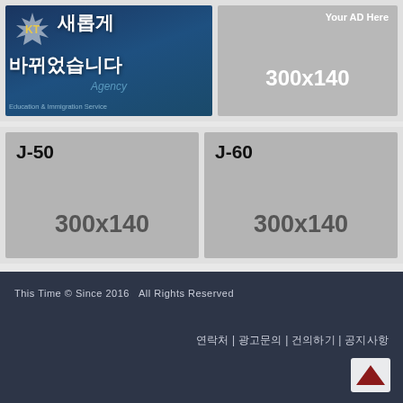[Figure (illustration): KT Agency banner with Korean text '새롭게 바뀌었습니다' and subtitle 'Education & Immigration Service' on dark blue background with maple leaf graphic]
[Figure (illustration): Advertisement placeholder: 'Your AD Here 300x140' on grey background]
[Figure (illustration): Advertisement placeholder J-50: '300x140' on grey background]
[Figure (illustration): Advertisement placeholder J-60: '300x140' on grey background]
This Time © Since 2016   All Rights Reserved
연락처 | 광고문의 | 건의하기 | 공지사항